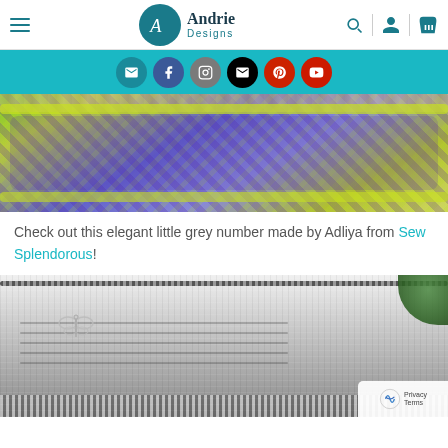Andrie Designs
[Figure (illustration): Social media icon bar with email, Facebook, Instagram, email, Pinterest, YouTube icons on teal background]
[Figure (photo): Close-up of colorful patterned fabric bag interior with purple, green, and blue geometric fabric patterns on wood surface]
Check out this elegant little grey number made by Adliya from Sew Splendorous!
[Figure (photo): Grey textured clutch/wristlet bag with butterfly charm on zipper, pleated fabric panel and houndstooth trim at bottom, with succulent plant in background]